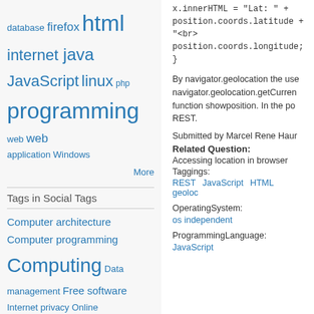[Figure (other): Tag cloud with words: database, firefox, html (large), internet, java (large), JavaScript, linux, php, programming (large), web, web application, Windows. 'More' link at bottom right.]
Tags in Social Tags
[Figure (other): Social tag cloud: Computer architecture, Computer programming, Computing (very large), Data management, Free software, Internet privacy, Online advertising, Software (very large), Software engineering, System software, Web design, World]
x.innerHTML = "Lat: " + position.coords.latitude + "<br> position.coords.longitude;
}
By navigator.geolocation the use navigator.geolocation.getCurren function showposition. In the po REST.
Submitted by Marcel Rene Haur
Related Question:
Accessing location in browser
Taggings:
REST JavaScript HTML geoloc
OperatingSystem:
os independent
ProgrammingLanguage:
JavaScript